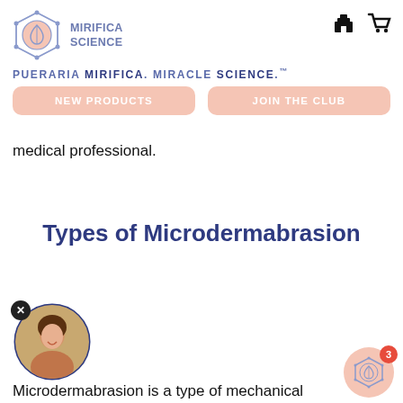MIRIFICA SCIENCE — PUERARIA MIRIFICA. MIRACLE SCIENCE.™
[Figure (logo): Mirifica Science hexagonal logo with leaf icon and brand name]
[Figure (infographic): Navigation buttons: NEW PRODUCTS and JOIN THE CLUB]
medical professional.
Types of Microdermabrasion
[Figure (photo): Circular avatar photo of a woman with an X close button]
Microdermabrasion is a type of mechanical